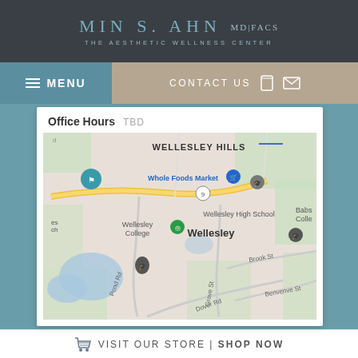MIN S. AHN MD|FACS THE AESTHETIC WELLNESS CENTER
MENU
CONTACT US
Office Hours  TBD
[Figure (map): Google Maps view showing Wellesley, MA area with landmarks including Whole Foods Market, Wellesley College, Wellesley High School, Babson College, and roads including Pond Rd, Dover Rd, Grove St, Brook St, Benvenve St]
VISIT OUR STORE | SHOP NOW